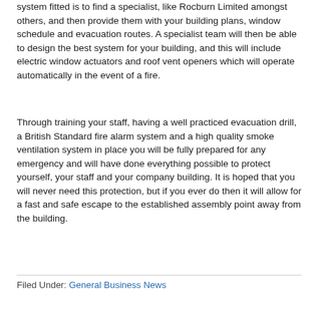system fitted is to find a specialist, like Rocburn Limited amongst others, and then provide them with your building plans, window schedule and evacuation routes. A specialist team will then be able to design the best system for your building, and this will include electric window actuators and roof vent openers which will operate automatically in the event of a fire.
Through training your staff, having a well practiced evacuation drill, a British Standard fire alarm system and a high quality smoke ventilation system in place you will be fully prepared for any emergency and will have done everything possible to protect yourself, your staff and your company building. It is hoped that you will never need this protection, but if you ever do then it will allow for a fast and safe escape to the established assembly point away from the building.
Filed Under: General Business News